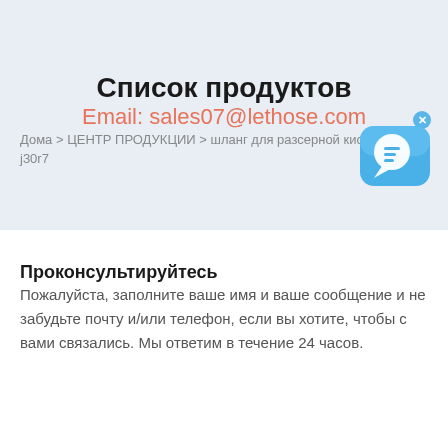Список продуктов
Email: sales07@lethose.com
Дома > ЦЕНТР ПРОДУКЦИИ > шланг для разсерной кислоты sae j30r7
[Figure (illustration): Blue chat/messaging app icon with a speech bubble, with a small close (x) button in the top-right corner]
Проконсультируйтесь
Пожалуйста, заполните ваше имя и ваше сообщение и не забудьте почту и/или телефон, если вы хотите, чтобы с вами связались. Мы ответим в течение 24 часов.